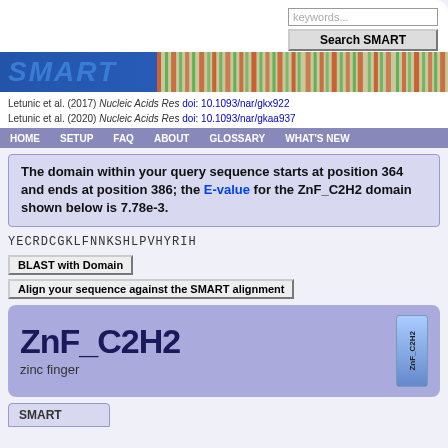[Figure (screenshot): SMART database website header with search box and SMART logo banner]
Letunic et al. (2017) Nucleic Acids Res doi: 10.1093/nar/gkx922
Letunic et al. (2020) Nucleic Acids Res doi: 10.1093/nar/gkaa937
HOME  SETUP  FAQ  ABOUT  GLOSSARY  WHAT'S NEW
The domain within your query sequence starts at position 364 and ends at position 386; the E-value for the ZnF_C2H2 domain shown below is 7.78e-3.
YECRDCGKLFNNKSHLPVHYRIH
BLAST with Domain
Align your sequence against the SMART alignment
ZnF_C2H2
zinc finger
SMART